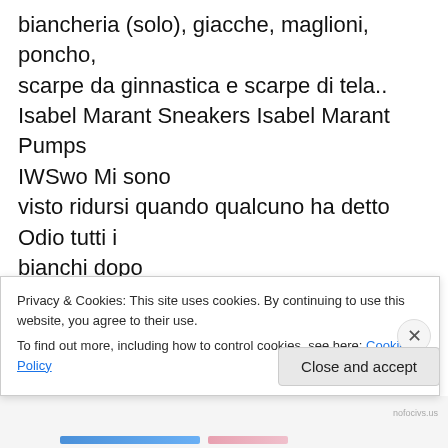biancheria (solo), giacche, maglioni, poncho, scarpe da ginnastica e scarpe di tela.. Isabel Marant Sneakers Isabel Marant Pumps IWSwo Mi sono visto ridursi quando qualcuno ha detto Odio tutti i bianchi dopo che Martin Luther King fu assassinato. Capisco che il sentimento. Isabel Marant Sneakers Isabel Marant Heels UMaGb L'azienda può facilmente rivoluzionare il telefono cellulare dal punto
Privacy & Cookies: This site uses cookies. By continuing to use this website, you agree to their use.
To find out more, including how to control cookies, see here: Cookie Policy
Close and accept